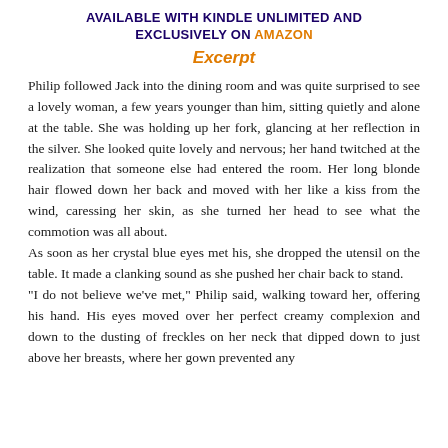AVAILABLE WITH KINDLE UNLIMITED AND EXCLUSIVELY ON AMAZON
Excerpt
Philip followed Jack into the dining room and was quite surprised to see a lovely woman, a few years younger than him, sitting quietly and alone at the table. She was holding up her fork, glancing at her reflection in the silver. She looked quite lovely and nervous; her hand twitched at the realization that someone else had entered the room. Her long blonde hair flowed down her back and moved with her like a kiss from the wind, caressing her skin, as she turned her head to see what the commotion was all about.
As soon as her crystal blue eyes met his, she dropped the utensil on the table. It made a clanking sound as she pushed her chair back to stand.
"I do not believe we've met," Philip said, walking toward her, offering his hand. His eyes moved over her perfect creamy complexion and down to the dusting of freckles on her neck that dipped down to just above her breasts, where her gown prevented any